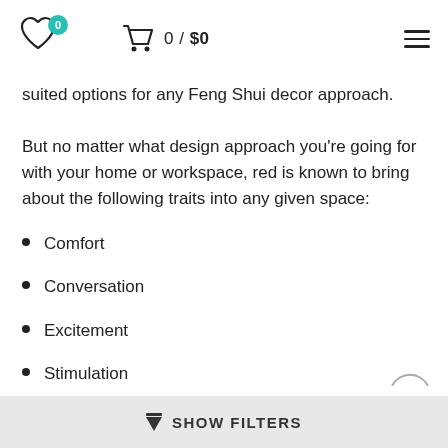0 / $0
suited options for any Feng Shui decor approach.
But no matter what design approach you're going for with your home or workspace, red is known to bring about the following traits into any given space:
Comfort
Conversation
Excitement
Stimulation
▼ SHOW FILTERS